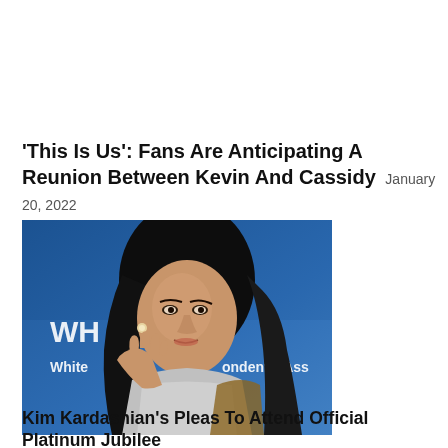'This Is Us': Fans Are Anticipating A Reunion Between Kevin And Cassidy January 20, 2022
[Figure (photo): Photo of Kim Kardashian at what appears to be the White House Correspondents' Association event, against a blue backdrop. She is wearing a silver/metallic outfit and has long dark hair.]
Kim Kardashian's Pleas To Attend Official Platinum Jubilee